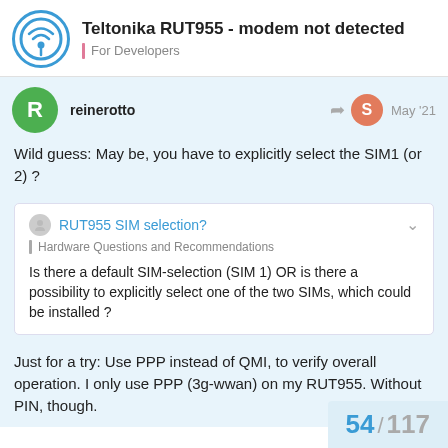Teltonika RUT955 - modem not detected | For Developers
reinerotto — May '21
Wild guess: May be, you have to explicitly select the SIM1 (or 2) ?
RUT955 SIM selection? | Hardware Questions and Recommendations
Is there a default SIM-selection (SIM 1) OR is there a possibility to explicitly select one of the two SIMs, which could be installed ?
Just for a try: Use PPP instead of QMI, to verify overall operation. I only use PPP (3g-wwan) on my RUT955. Without PIN, though.
54 / 117